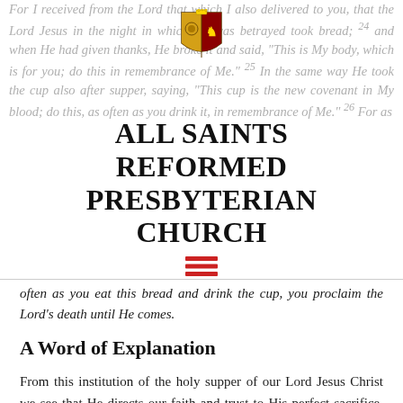For I received from the Lord that which I also delivered to you, that the Lord Jesus in the night in which He was betrayed took bread; 24 and when He had given thanks, He broke it and said, "This is My body, which is for you; do this in remembrance of Me." 25 In the same way He took the cup also after supper, saying, "This cup is the new covenant in My blood; do this, as often as you drink it, in remembrance of Me." 26 For as
[Figure (logo): All Saints Reformed Presbyterian Church coat of arms / shield logo]
ALL SAINTS REFORMED PRESBYTERIAN CHURCH
often as you eat this bread and drink the cup, you proclaim the Lord's death until He comes.
A Word of Explanation
From this institution of the holy supper of our Lord Jesus Christ we see that He directs our faith and trust to His perfect sacrifice, once offered on the cross, as to the only ground and foundation of our salvation, whereby He is become to our hungry and